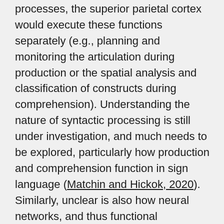processes, the superior parietal cortex would execute these functions separately (e.g., planning and monitoring the articulation during production or the spatial analysis and classification of constructs during comprehension). Understanding the nature of syntactic processing is still under investigation, and much needs to be explored, particularly how production and comprehension function in sign language (Matchin and Hickok, 2020). Similarly, unclear is also how neural networks, and thus functional connectivity between brain regions, interact to support sign language mechanisms. In this regard, future research specializing in building neurobiological models should also address neural computation processes of comprehension and production in